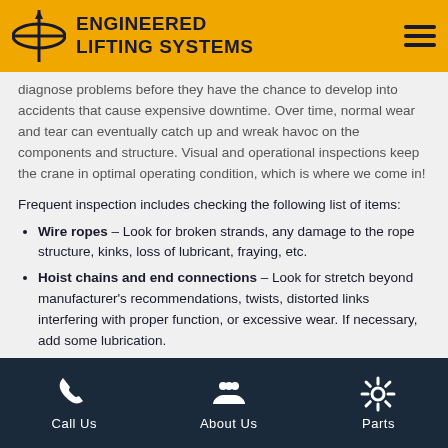ENGINEERED LIFTING SYSTEMS
diagnose problems before they have the chance to develop into accidents that cause expensive downtime. Over time, normal wear and tear can eventually catch up and wreak havoc on the components and structure. Visual and operational inspections keep the crane in optimal operating condition, which is where we come in!
Frequent inspection includes checking the following list of items:
Wire ropes – Look for broken strands, any damage to the rope structure, kinks, loss of lubricant, fraying, etc.
Hoist chains and end connections – Look for stretch beyond manufacturer's recommendations, twists, distorted links interfering with proper function, or excessive wear. If necessary, add some lubrication.
Air or hydraulic systems – Look for deterioration or leakage in drain pumps, lines, valves, tanks, etc.
Call Us    About Us    Parts